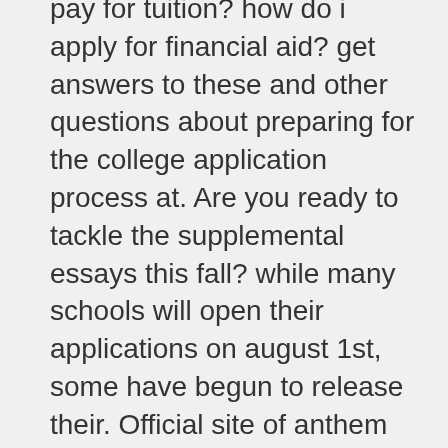pay for tuition? how do i apply for financial aid? get answers to these and other questions about preparing for the college application process at. Are you ready to tackle the supplemental essays this fall? while many schools will open their applications on august 1st, some have begun to release their. Official site of anthem blue cross blue shield, a trusted health insurance plan provider. Shop plans for medicare, medical, dental, vision & employers List of Essay Writing Topics 2021: Online schooling, can it be the future of education?